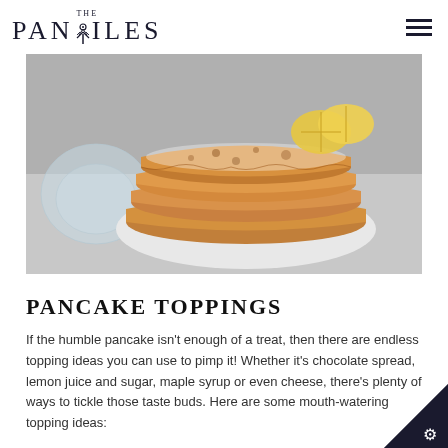THE PANTILES
[Figure (photo): Stack of thin golden crepes/pancakes dusted with powdered sugar, with lemon wedges on top, served on a white plate on a gray surface with a glass dish visible on the left]
PANCAKE TOPPINGS
If the humble pancake isn't enough of a treat, then there are endless topping ideas you can use to pimp it! Whether it's chocolate spread, lemon juice and sugar, maple syrup or even cheese, there's plenty of ways to tickle those taste buds. Here are some mouth-watering topping ideas:
Lemon and Sugar – The good old traditional lemon a...